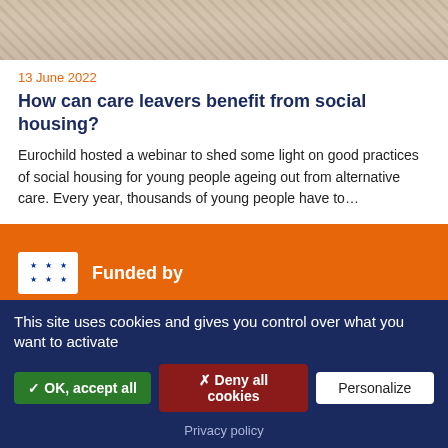[Figure (photo): Partial photo of a stone or tiled floor/surface, cropped at the bottom]
13 June 2022
How can care leavers benefit from social housing?
Eurochild hosted a webinar to shed some light on good practices of social housing for young people ageing out from alternative care. Every year, thousands of young people have to...
read more
[Figure (logo): EU logo (white box with stars) beside 'Funded by' text on orange background]
This site uses cookies and gives you control over what you want to activate
✓ OK, accept all
✗ Deny all cookies
Personalize
Privacy policy